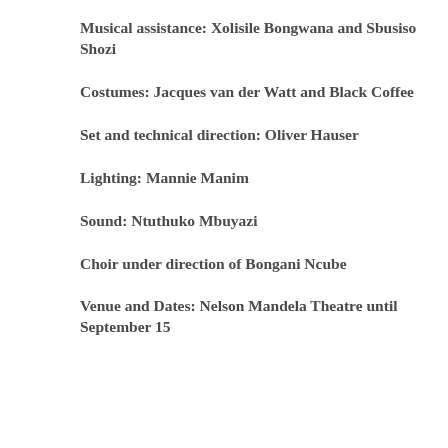Musical assistance: Xolisile Bongwana and Sbusiso Shozi
Costumes: Jacques van der Watt and Black Coffee
Set and technical direction: Oliver Hauser
Lighting: Mannie Manim
Sound: Ntuthuko Mbuyazi
Choir under direction of Bongani Ncube
Venue and Dates: Nelson Mandela Theatre until September 15